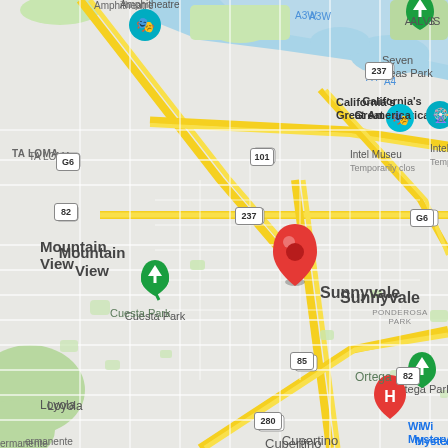[Figure (map): Google Maps view centered on Sunnyvale, California showing surrounding areas including Mountain View, Cuesta Park, Loyola, Ortega Park, Cupertino, Seven Seas Park, California's Great America, Intel Museum, Ponderosa Park. Major highways visible: 101, 237, 85, 280, 82, G6. A red location pin is placed in Sunnyvale. Green park icons for Cuesta Park, Ortega Park, California's Great America, and a park near Seven Seas Park. Red hospital icon in lower right area. Cyan/teal icons for a venue in upper left and California's Great America. Water/bay visible in the upper portion.]